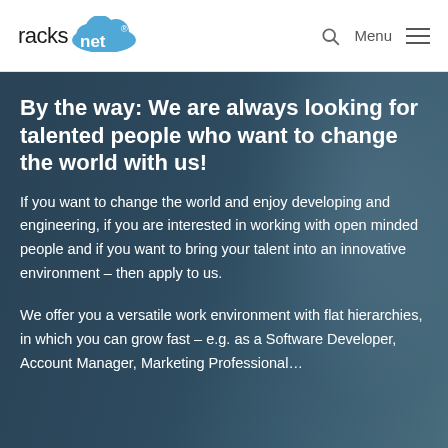racks net® Menu
By the way: We are always looking for talented people who want to change the world with us!
If you want to change the world and enjoy developing and engineering, if you are interested in working with open minded people and if you want to bring your talent into an innovative environment – then apply to us.
We offer you a versatile work environment with flat hierarchies, in which you can grow fast – e.g. as a Software Developer, Account Manager, Marketing Professional…